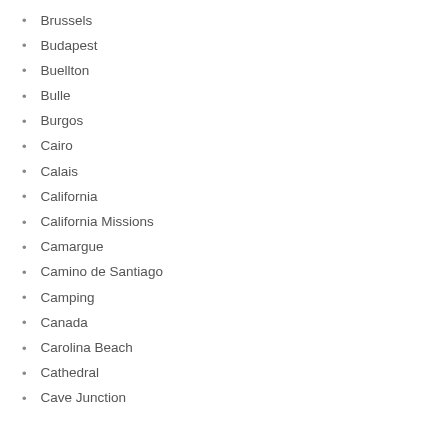Brussels
Budapest
Buellton
Bulle
Burgos
Cairo
Calais
California
California Missions
Camargue
Camino de Santiago
Camping
Canada
Carolina Beach
Cathedral
Cave Junction